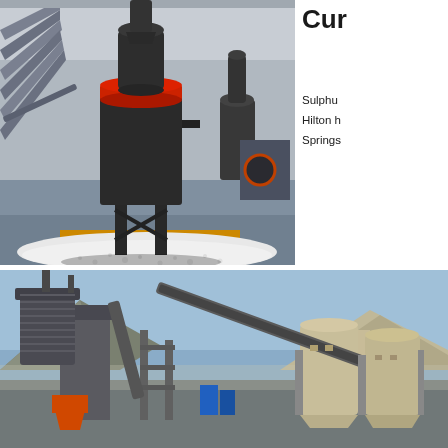[Figure (photo): Industrial grinding mill machine (large cylindrical dark metal grinder with red band) on white pellets floor inside a large factory/plant building with steel frame structure and other industrial equipment visible in background.]
Cur
Sulphu
Hilton h
Springs
[Figure (photo): Outdoor industrial mineral processing plant with large storage silos, conveyor belts, dust collector towers and other processing equipment set against rocky mountains and blue sky.]